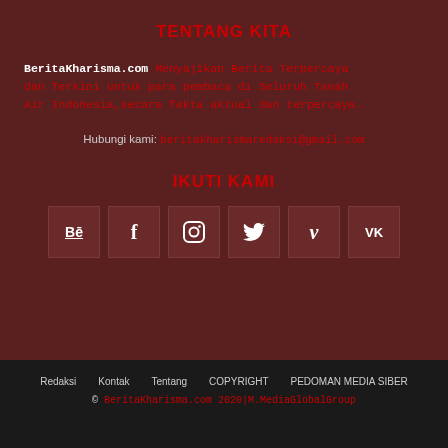TENTANG KITA
BeritaKharisma.com Menyajikan Berita Terpercaya dan Terkini untuk para pembaca di Seluruh Tanah Air Indonesia,secara fakta aktual dan terpercaya.
Hubungi kami: beritakharismaredaksi@gmail.com
IKUTI KAMI
[Figure (infographic): Row of 6 social media icon boxes: Behance (Be), Facebook (f), Instagram, Twitter, Vimeo (v), VKontakte (VK)]
Redaksi  Kontak  Tentang  COPYRIGHT  PEDOMAN MEDIA SIBER
© BeritaKharisma.com 2020|M.MediaGlobalGroup